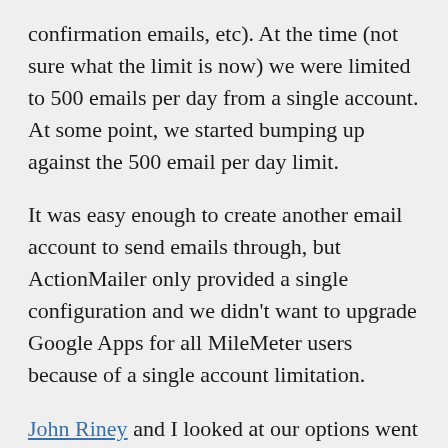confirmation emails, etc). At the time (not sure what the limit is now) we were limited to 500 emails per day from a single account. At some point, we started bumping up against the 500 email per day limit.
It was easy enough to create another email account to send emails through, but ActionMailer only provided a single configuration and we didn't want to upgrade Google Apps for all MileMeter users because of a single account limitation.
John Riney and I looked at our options went in search of a solution which would allows us to send more emails without spending any additional money.
John found the Hash documentation and realized we had a solution in what he deemed “Untrustworty Ruby Hashes”